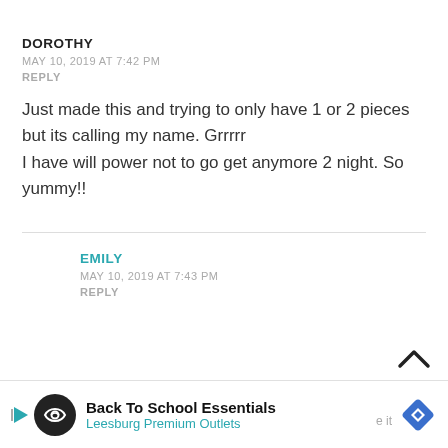DOROTHY
MAY 10, 2019 AT 7:42 PM
REPLY
Just made this and trying to only have 1 or 2 pieces but its calling my name. Grrrrr
I have will power not to go get anymore 2 night. So yummy!!
EMILY
MAY 10, 2019 AT 7:43 PM
REPLY
[Figure (other): Advertisement banner: Back To School Essentials - Leesburg Premium Outlets]